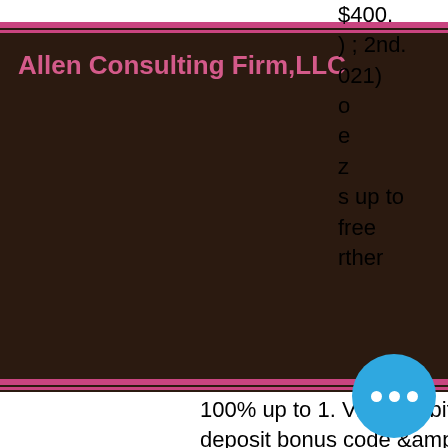$400. ) ; 2nd. 021) o e z s up to free rther
[Figure (logo): Allen Consulting Firm,LLC dark brown header bar with pink text and pink accent lines]
[Figure (other): Pink circle menu button with three horizontal white lines (hamburger icon)]
100% up to 1. Visit this bitstarz sister casino and get 20 free spins no deposit bonus code &amp;amp; enjoy bitcoin casino for. Bitstarz casino bonus &amp;amp; promo codes (2020). Banking options, different promos and bonuses on offer, and much more. Bitcoin casino bonus) bitstarz (top neues bitcoin online casino). A good casino in terms on range of games and regular bonuses and promos. Bitstarz promo code zatočení zdarma. After you've found the best bitcoin casino site which is legal in your area, you should follow up by considering the
[Figure (other): Blue circle chat button with three white dots]